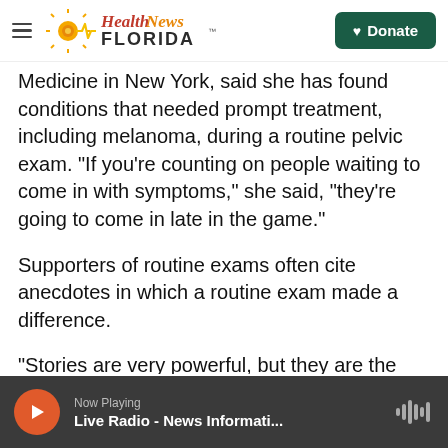Health News Florida — Donate
Medicine in New York, said she has found conditions that needed prompt treatment, including melanoma, during a routine pelvic exam. “If you’re counting on people waiting to come in with symptoms,” she said, “they’re going to come in late in the game.”
Supporters of routine exams often cite anecdotes in which a routine exam made a difference.
“Stories are very powerful, but they are the antithesis of epidemiological evidence,” Sawaya said. “The focus should be on symptoms, and on
Now Playing — Live Radio - News Informati...